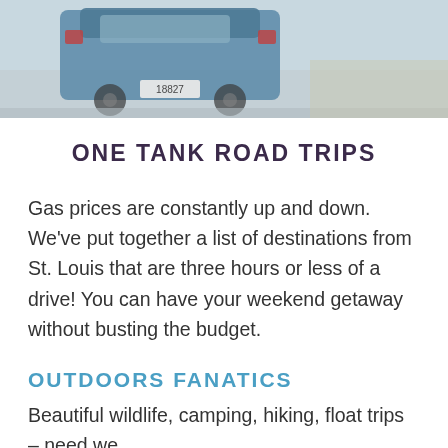[Figure (photo): Top portion of a blue vintage van/vehicle from behind, on a road, muted blue-grey tones]
ONE TANK ROAD TRIPS
Gas prices are constantly up and down. We've put together a list of destinations from St. Louis that are three hours or less of a drive! You can have your weekend getaway without busting the budget.
OUTDOORS FANATICS
Beautiful wildlife, camping, hiking, float trips – need we